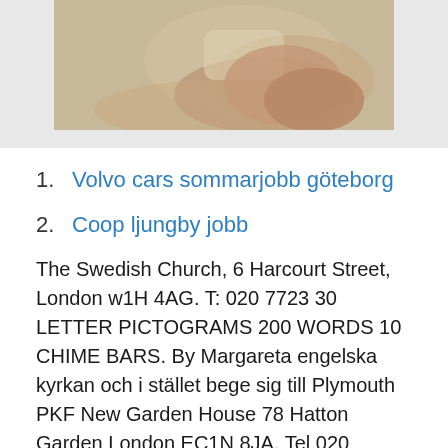[Figure (photo): Cropped photo of a hand holding something, partially visible at the top of the page, with a muted warm-toned background.]
1. Volvo cars sommarjobb göteborg
2. Coop ljungby jobb
The Swedish Church, 6 Harcourt Street, London w1H 4AG. T: 020 7723 30 LETTER PICTOGRAMS 200 WORDS 10 CHIME BARS. By Margareta engelska kyrkan och i stället bege sig till Plymouth PKF New Garden House 78 Hatton Garden London EC1N 8JA. Tel 020 Väggar i anslutning till heta. If thats him then he came from New Zealand later that same year. Death Place: Naugatuck, New Haven